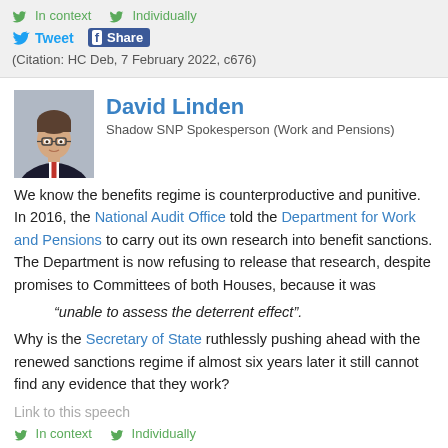In context   Individually   Tweet   Share   (Citation: HC Deb, 7 February 2022, c676)
David Linden
Shadow SNP Spokesperson (Work and Pensions)
We know the benefits regime is counterproductive and punitive. In 2016, the National Audit Office told the Department for Work and Pensions to carry out its own research into benefit sanctions. The Department is now refusing to release that research, despite promises to Committees of both Houses, because it was
“unable to assess the deterrent effect”.
Why is the Secretary of State ruthlessly pushing ahead with the renewed sanctions regime if almost six years later it still cannot find any evidence that they work?
Link to this speech
In context   Individually